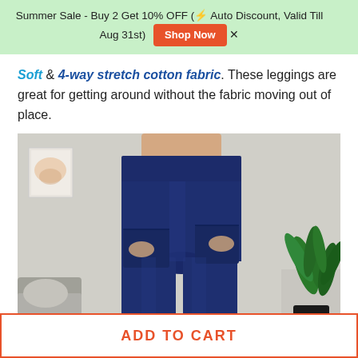Summer Sale - Buy 2 Get 10% OFF (⚡ Auto Discount, Valid Till Aug 31st)  [Shop Now]
Soft & 4-way stretch cotton fabric. These leggings are great for getting around without the fabric moving out of place.
[Figure (photo): A person wearing navy blue leggings with side pockets, standing in a room with a plant and grey furniture visible in the background. Photo is cropped to show torso and legs only.]
ADD TO CART